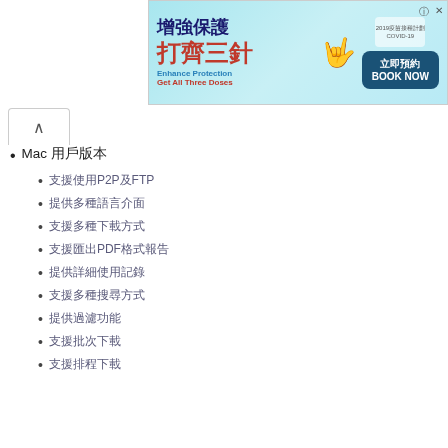[Figure (screenshot): Advertisement banner in Chinese for COVID-19 vaccination campaign. Text reads '增強保護 打齊三針 Enhance Protection Get All Three Doses' with a 'BOOK NOW / 立即預約' button. Light blue background with decorative elements.]
Mac 用戶版本
支援使用P2P及FTP
提供多種語言介面
支援多種下載方式
支援匯出PDF格式報告
提供詳細使用記錄
支援多種搜尋方式
提供過濾功能
支援批次下載
支援排程下載